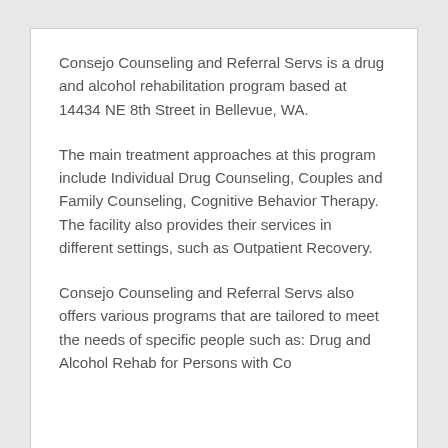Consejo Counseling and Referral Servs is a drug and alcohol rehabilitation program based at 14434 NE 8th Street in Bellevue, WA.
The main treatment approaches at this program include Individual Drug Counseling, Couples and Family Counseling, Cognitive Behavior Therapy. The facility also provides their services in different settings, such as Outpatient Recovery.
Consejo Counseling and Referral Servs also offers various programs that are tailored to meet the needs of specific people such as: Drug and Alcohol Rehab for Persons with Co...